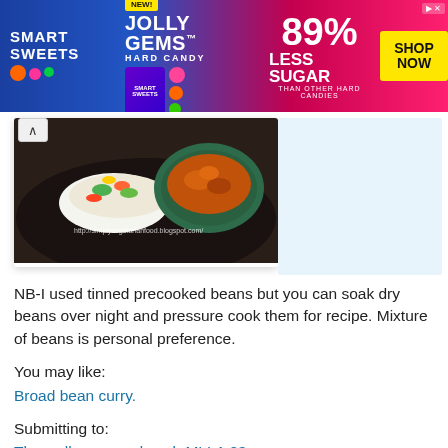[Figure (photo): SmartSweets Jolly Gems advertisement banner - blue and pink background with candy images, '89% LESS SUGAR THAN OTHER HARD CANDIES' text and 'SHOP NOW' yellow button]
[Figure (photo): Food photo showing a bowl of bean curry with rice and vegetables on a dark plate, with a watermark URL http://simplyvegetarianfood.blogspot.com/]
NB-I used tinned precooked beans but you can soak dry beans over night and pressure cook them for recipe. Mixture of beans is personal preference.
You may like:
Broad bean curry.
Submitting to:
The well seasoned cook-MLLA 23
[Figure (infographic): Social media share icons row: Twitter bird, Facebook f, Email envelope, WhatsApp, SMS bubble, and share/more icon - all in green color]